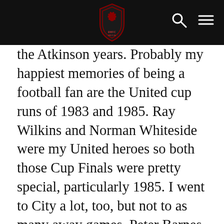[Site header with logo, search icon, and menu icon]
the Atkinson years. Probably my happiest memories of being a football fan are the United cup runs of 1983 and 1985. Ray Wilkins and Norman Whiteside were my United heroes so both those Cup Finals were pretty special, particularly 1985. I went to City a lot, too, but not to as many away games. Peter Barnes was my City hero but I liked Paul Lake a lot, too. I started watching City when Joe Corrigan, Asa Hartford and Dennis Tueart were in the side and I was sitting behind the goal in the North Stand when Raddy Antic scored that famous goal that put City down. But my dad was from Stockport and he used to take me to Edgeley Park and the whole sense of community and the link with the past drew